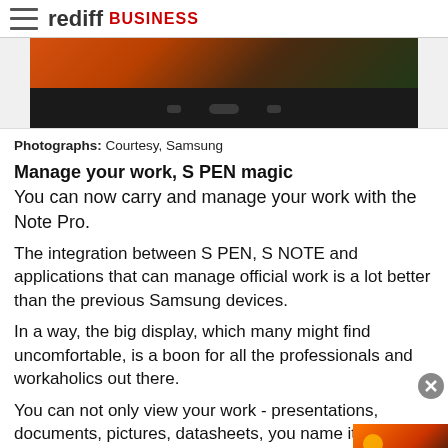rediff BUSINESS
[Figure (photo): Bottom portion of a Samsung Galaxy Note Pro tablet showing navigation buttons against a colorful background]
Photographs: Courtesy, Samsung
Manage your work, S PEN magic
You can now carry and manage your work with the Note Pro.
The integration between S PEN, S NOTE and applications that can manage official work is a lot better than the previous Samsung devices.
In a way, the big display, which many might find uncomfortable, is a boon for all the professionals and workaholics out there.
You can not only view your work - presentations, documents, pictures, datasheets, you name it - but edit it on the device also. Hancom Office is one such application that can be used to manage your work